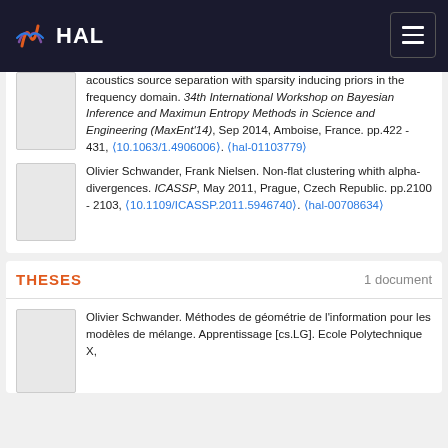HAL
acoustics source separation with sparsity inducing priors in the frequency domain. 34th International Workshop on Bayesian Inference and Maximun Entropy Methods in Science and Engineering (MaxEnt'14), Sep 2014, Amboise, France. pp.422 - 431, ⟨10.1063/1.4906006⟩. ⟨hal-01103779⟩
Olivier Schwander, Frank Nielsen. Non-flat clustering whith alpha-divergences. ICASSP, May 2011, Prague, Czech Republic. pp.2100 - 2103, ⟨10.1109/ICASSP.2011.5946740⟩. ⟨hal-00708634⟩
THESES
1 document
Olivier Schwander. Méthodes de géométrie de l'information pour les modèles de mélange. Apprentissage [cs.LG]. Ecole Polytechnique X,